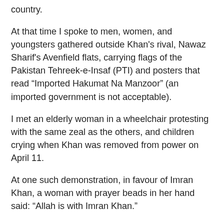country.
At that time I spoke to men, women, and youngsters gathered outside Khan's rival, Nawaz Sharif's Avenfield flats, carrying flags of the Pakistan Tehreek-e-Insaf (PTI) and posters that read “Imported Hakumat Na Manzoor” (an imported government is not acceptable).
I met an elderly woman in a wheelchair protesting with the same zeal as the others, and children crying when Khan was removed from power on April 11.
At one such demonstration, in favour of Imran Khan, a woman with prayer beads in her hand said: “Allah is with Imran Khan.”
It was not surprising to see religion being used by Khan’s followers in Pakistan and abroad, as he has